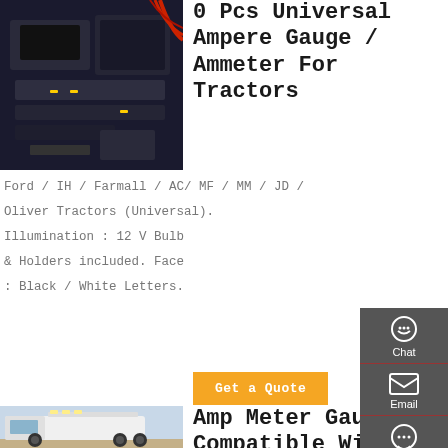[Figure (photo): Photo of tractor engine/electrical components, dark background with red wires]
0 Pcs Universal Ampere Gauge / Ammeter For Tractors
Ford / IH / Farmall / AC/ MF / MM / JD / Oliver Tractors (Universal). Illumination : 12 V Bulb & Holders included. Face : Black / White Letters.
Get a Quote
[Figure (photo): Photo of a white truck (Volvo or similar) in a desert/arid setting]
Amp Meter Gauge Compatible With